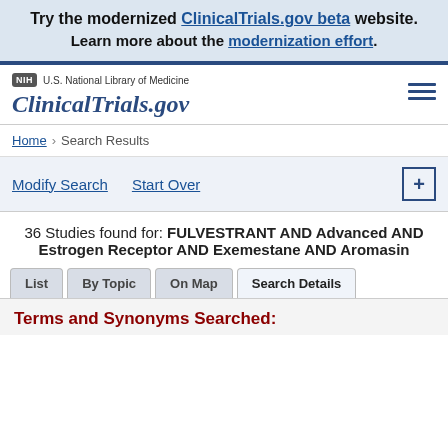Try the modernized ClinicalTrials.gov beta website. Learn more about the modernization effort.
[Figure (logo): NIH and ClinicalTrials.gov site header with hamburger menu]
Home > Search Results
Modify Search   Start Over   [+]
36 Studies found for: FULVESTRANT AND Advanced AND Estrogen Receptor AND Exemestane AND Aromasin
List  By Topic  On Map  Search Details
Terms and Synonyms Searched: